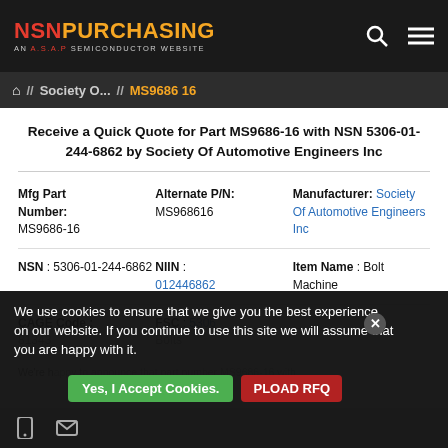NSN PURCHASING — AN A.S.A.P SEMICONDUCTOR WEBSITE
Home // Society O... // MS9686 16
Receive a Quick Quote for Part MS9686-16 with NSN 5306-01-244-6862 by Society Of Automotive Engineers Inc
| Mfg Part Number | Alternate P/N | Manufacturer |
| --- | --- | --- |
| MS9686-16 | MS968616 | Society Of Automotive Engineers Inc |
| NSN | NIIN | Item Name |
| --- | --- | --- |
| 5306-01-244-6862 | 012446862 | Bolt Machine |
| CAGE Code | FSC |
| --- | --- |
| 81343 | 5306 Bolts |
We use cookies to ensure that we give you the best experience on our website. If you continue to use this site we will assume that you are happy with it.
We're happy to announce that part number MS9686-16 with...